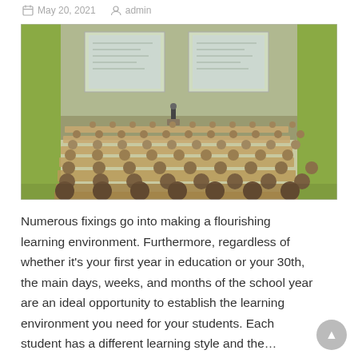May 20, 2021   admin
[Figure (photo): Large university lecture hall filled with students seated at tiered rows of wooden desks, viewed from the rear. A lecturer stands at the front podium with two large projected screens showing equations or diagrams. The walls are accented with green panels.]
Numerous fixings go into making a flourishing learning environment. Furthermore, regardless of whether it's your first year in education or your 30th, the main days, weeks, and months of the school year are an ideal opportunity to establish the learning environment you need for your students. Each student has a different learning style and the…